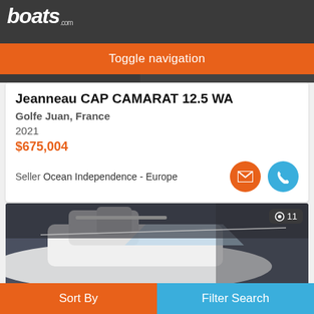boats.com
Toggle navigation
[Figure (photo): Partial boat photo visible behind the navigation toggle bar]
Jeanneau CAP CAMARAT 12.5 WA
Golfe Juan, France
2021
$675,004
Seller Ocean Independence - Europe
[Figure (photo): White motorboat (Jeanneau CAP CAMARAT) parked in a marina or boatyard, shot from the side/front angle]
Sort By   Filter Search